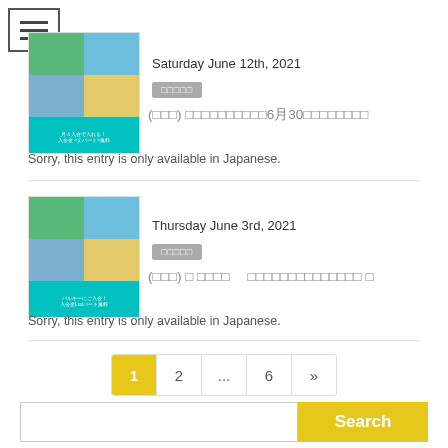[Figure (other): Hamburger menu icon, three horizontal lines in a square border]
Saturday June 12th, 2021
（キャンペーン）
（キャンペーン） ～コワーキングスペース6月30日まで入会金無料～
Sorry, this entry is only available in Japanese.
Thursday June 3rd, 2021
（キャンペーン）
（キャンペーン） ＜ コワーキング 　コワーキングスペースの月会員 ＞
Sorry, this entry is only available in Japanese.
1  2  ...  6  »